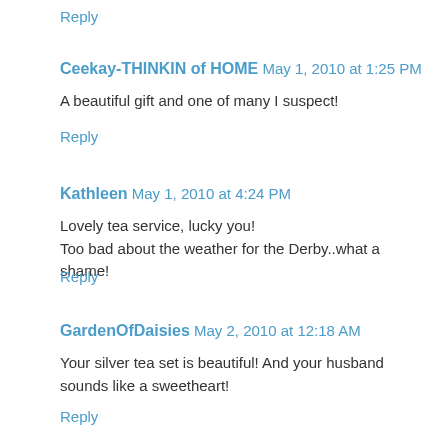Reply
Ceekay-THINKIN of HOME May 1, 2010 at 1:25 PM
A beautiful gift and one of many I suspect!
Reply
Kathleen May 1, 2010 at 4:24 PM
Lovely tea service, lucky you!
Too bad about the weather for the Derby..what a shame!
Reply
GardenOfDaisies May 2, 2010 at 12:18 AM
Your silver tea set is beautiful! And your husband sounds like a sweetheart!
Reply